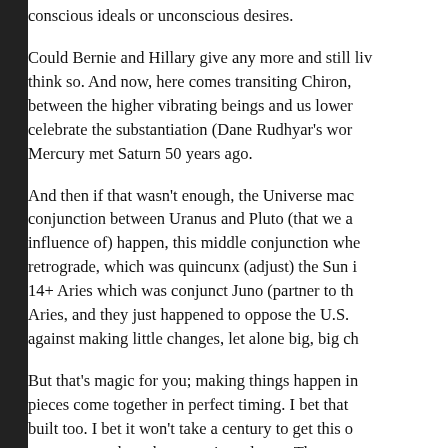conscious ideals or unconscious desires.
Could Bernie and Hillary give any more and still live, I think so. And now, here comes transiting Chiron, between the higher vibrating beings and us lower, celebrate the substantiation (Dane Rudhyar's word) Mercury met Saturn 50 years ago.
And then if that wasn't enough, the Universe made conjunction between Uranus and Pluto (that we are influence of) happen, this middle conjunction when retrograde, which was quincunx (adjust) the Sun at 14+ Aries which was conjunct Juno (partner to the Aries, and they just happened to oppose the U.S. against making little changes, let alone big, big ch
But that's magic for you; making things happen in pieces come together in perfect timing. I bet that built too. I bet it won't take a century to get this o young voters have been motivated now. That co